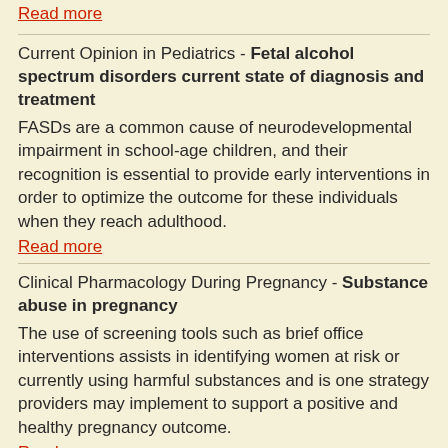Read more
Current Opinion in Pediatrics - Fetal alcohol spectrum disorders current state of diagnosis and treatment
FASDs are a common cause of neurodevelopmental impairment in school-age children, and their recognition is essential to provide early interventions in order to optimize the outcome for these individuals when they reach adulthood.
Read more
Clinical Pharmacology During Pregnancy - Substance abuse in pregnancy
The use of screening tools such as brief office interventions assists in identifying women at risk or currently using harmful substances and is one strategy providers may implement to support a positive and healthy pregnancy outcome.
Read more
Cancer - Association between pregnancy intention and preconception health behaviors
Pregnancy intentions were associated with some healthier preconception behaviors in AYA survivors. Medical